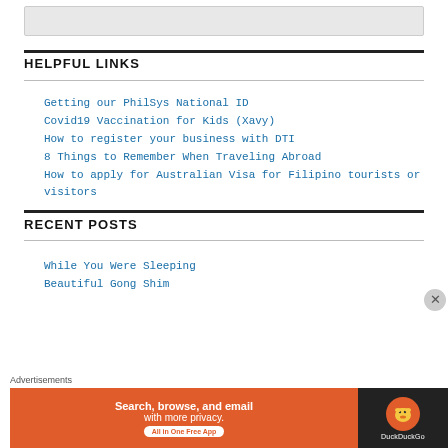[Figure (other): Search bar / input field with light gray background]
HELPFUL LINKS
Getting our PhilSys National ID
Covid19 Vaccination for Kids (Xavy)
How to register your business with DTI
8 Things to Remember When Traveling Abroad
How to apply for Australian Visa for Filipino tourists or visitors
RECENT POSTS
While You Were Sleeping
Beautiful Gong Shim
Advertisements
[Figure (other): DuckDuckGo advertisement banner: Search, browse, and email with more privacy. All in One Free App]